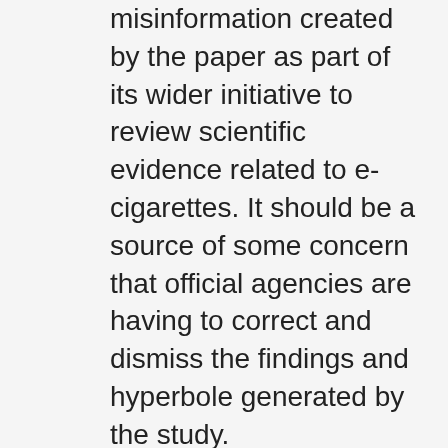misinformation created by the paper as part of its wider initiative to review scientific evidence related to e-cigarettes. It should be a source of some concern that official agencies are having to correct and dismiss the findings and hyperbole generated by the study.
4. The use of the highly misleading findings by activists to lobby for a total prohibition of e-cigarettes in Malaysia. It should be a matter of some concern that governments are being misled by this paper,